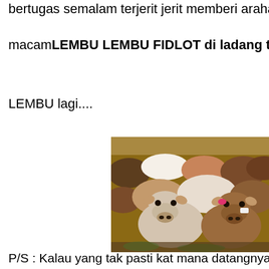bertugas semalam terjerit jerit memberi arahan itu dan
macamLEMBU LEMBU FIDLOT di ladang ternak NFC
LEMBU lagi....
[Figure (photo): A crowd of cattle — brown and white cows packed together, some with ear tags, facing the camera at a feedlot or farm.]
P/S : Kalau yang tak pasti kat mana datangnya terma "